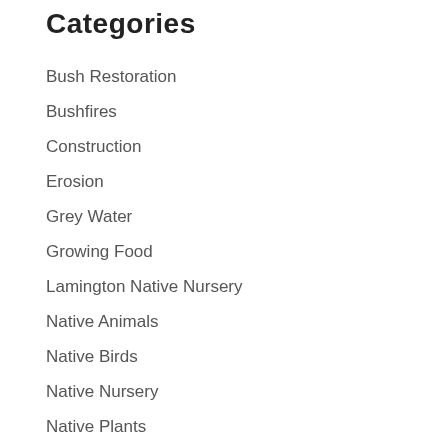Categories
Bush Restoration
Bushfires
Construction
Erosion
Grey Water
Growing Food
Lamington Native Nursery
Native Animals
Native Birds
Native Nursery
Native Plants
News From The Edge
Off Grid Living
Organic Gardening